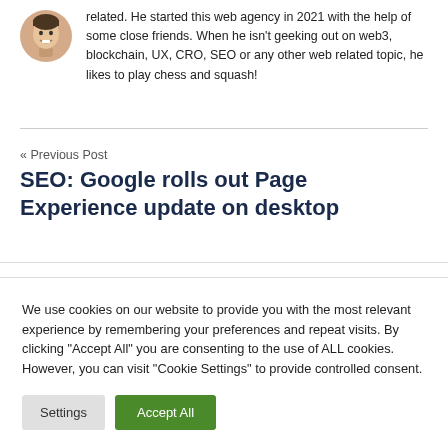related. He started this web agency in 2021 with the help of some close friends. When he isn't geeking out on web3, blockchain, UX, CRO, SEO or any other web related topic, he likes to play chess and squash!
« Previous Post
SEO: Google rolls out Page Experience update on desktop
We use cookies on our website to provide you with the most relevant experience by remembering your preferences and repeat visits. By clicking "Accept All" you are consenting to the use of ALL cookies. However, you can visit "Cookie Settings" to provide controlled consent.